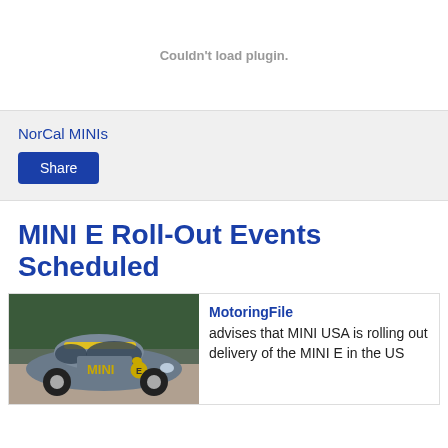Couldn't load plugin.
NorCal MINIs
Share
MINI E Roll-Out Events Scheduled
[Figure (photo): Photo of a MINI E electric car, gray with yellow MINI logo on door, parked outside.]
MotoringFile advises that MINI USA is rolling out delivery of the MINI E in the US